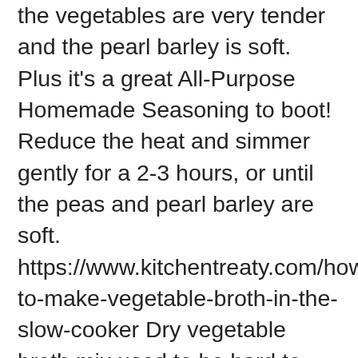the vegetables are very tender and the pearl barley is soft. Plus it's a great All-Purpose Homemade Seasoning to boot! Reduce the heat and simmer gently for a 2-3 hours, or until the peas and pearl barley are soft. https://www.kitchentreaty.com/how-to-make-vegetable-broth-in-the-slow-cooker Dry vegetable broth mix used to be hard to find. Lesson 3: Don't skimp on the vegetables. As you probably realize, this is not the sort of recipe that you need to follow slavishly. Stir in the potato, sweet potato, tomato paste, soy sauce, nutritional yeast, liquid smoke, and marmite. Gut-Healing Vegetable Broth (And Why It's Better Than Bone Broth) Jump to Recipe You might have seen a lot and heard a lot about Bone Broth and its "gut healing" properties in the news and media, as it seems to be a health trend at the moment. For seasoning: just sprinkle a bit on to vegetables while cooking. Produce. Heat all of the ingredients, except the kale, in a large saucepan until boiling. Cuisine: AIP, Dairy-Free, Gluten-Free, Grain-Free, Keto, Low-Carb, Paleo, Vegan, whole30. You can also make mushroom-heavy broth to use in Asian dishes or rustic stews. So, here it is, my pressure cooker vegetable broth. Bring the water to a boil and